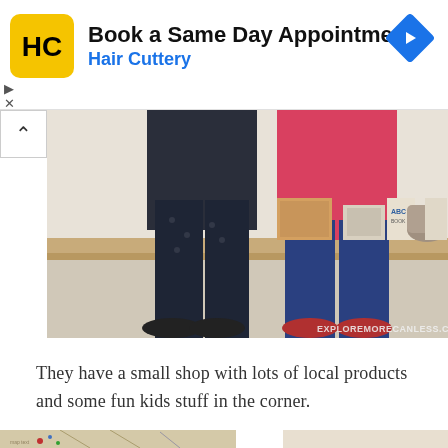[Figure (screenshot): Advertisement banner for Hair Cuttery with yellow logo, text 'Book a Same Day Appointment / Hair Cuttery', and a blue diamond navigation arrow icon]
[Figure (photo): Two children standing in front of a wooden shelf/bench in a shop. The child on the left wears dark patterned pants and dark shoes; the child on the right wears a pink/red top, jeans, and red shoes. Shelves in the background hold boxes, a basket, and other items. Watermark reads EXPLOREMORECANLESS.COM]
They have a small shop with lots of local products and some fun kids stuff in the corner.
[Figure (photo): Bottom partial view of what appears to be a map on a beige/tan background with handwritten text and a red dot marker, partially cut off at the bottom of the page]